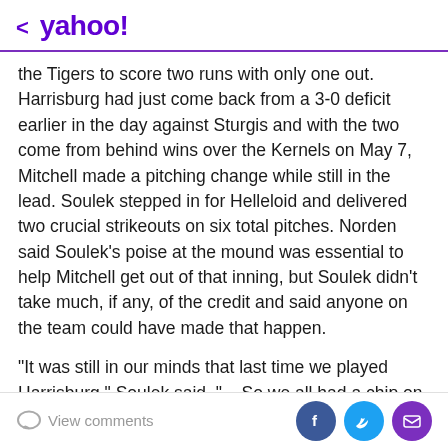< yahoo!
the Tigers to score two runs with only one out. Harrisburg had just come back from a 3-0 deficit earlier in the day against Sturgis and with the two come from behind wins over the Kernels on May 7, Mitchell made a pitching change while still in the lead. Soulek stepped in for Helleloid and delivered two crucial strikeouts on six total pitches. Norden said Soulek's poise at the mound was essential to help Mitchell get out of that inning, but Soulek didn't take much, if any, of the credit and said anyone on the team could have made that happen.
"It was still in our minds that last time we played Harrisburg," Soulek said. "... So we all had a chip on a shoulder coming into this game, and I think anyone he
View comments